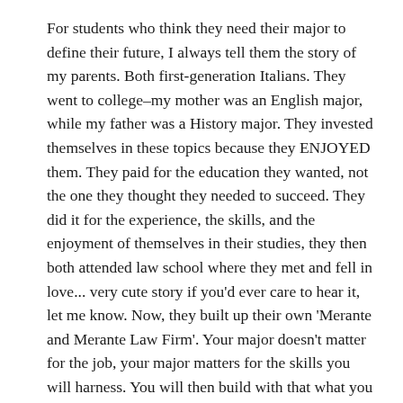For students who think they need their major to define their future, I always tell them the story of my parents. Both first-generation Italians. They went to college–my mother was an English major, while my father was a History major. They invested themselves in these topics because they ENJOYED them. They paid for the education they wanted, not the one they thought they needed to succeed. They did it for the experience, the skills, and the enjoyment of themselves in their studies, they then both attended law school where they met and fell in love... very cute story if you'd ever care to hear it, let me know. Now, they built up their own 'Merante and Merante Law Firm'. Your major doesn't matter for the job, your major matters for the skills you will harness. You will then build with that what you choose.... whether it be a small business or an empire: do what you want, not what the system is forcing you into.